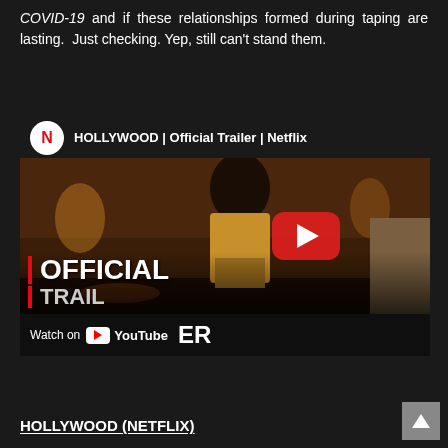COVID-19 and if these relationships formed during taping are lasting. Just checking. Yep, still can't stand them.
[Figure (screenshot): YouTube embedded video thumbnail for HOLLYWOOD | Official Trailer | Netflix. Shows Netflix logo, video title bar, a movie still of a man in a tan jacket sitting in a restaurant booth, a large YouTube play button overlay, text 'OFFICIAL TRAILER' overlaid on the image, and a 'Watch on YouTube' bar at the bottom.]
HOLLYWOOD (NETFLIX)